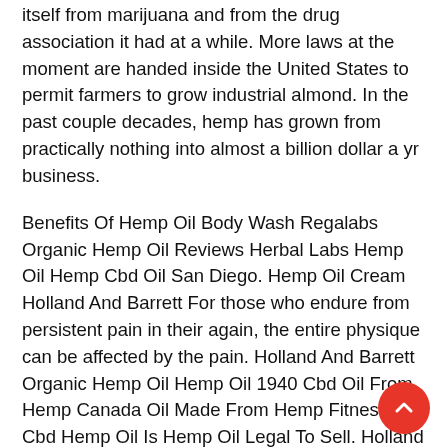itself from marijuana and from the drug association it had at a while. More laws at the moment are handed inside the United States to permit farmers to grow industrial almond. In the past couple decades, hemp has grown from practically nothing into almost a billion dollar a yr business.
Benefits Of Hemp Oil Body Wash Regalabs Organic Hemp Oil Reviews Herbal Labs Hemp Oil Hemp Cbd Oil San Diego. Hemp Oil Cream Holland And Barrett For those who endure from persistent pain in their again, the entire physique can be affected by the pain. Holland And Barrett Organic Hemp Oil Hemp Oil 1940 Cbd Oil From Hemp Canada Oil Made From Hemp Fitness Cbd Hemp Oil Is Hemp Oil Legal To Sell. Holland And Barrett Organic Hemp Oil There are many kinds of omega fatty acids.